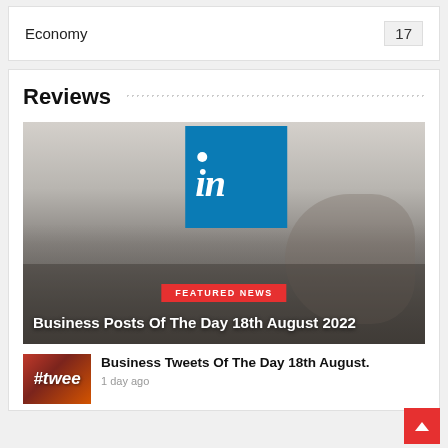Economy
17
Reviews
[Figure (photo): Man lying on couch holding a LinkedIn logo sign above him while wearing headphones, with tattooed arms. Photo has overlaid text badge 'FEATURED NEWS' in red and title 'Business Posts Of The Day 18th August 2022' in white.]
FEATURED NEWS
Business Posts Of The Day 18th August 2022
[Figure (photo): Thumbnail image showing hashtag (#twee) text on orange/red background]
Business Tweets Of The Day 18th August.
1 day ago